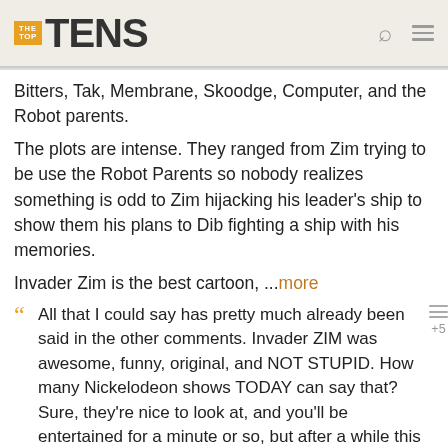THE TOP TENS
Bitters, Tak, Membrane, Skoodge, Computer, and the Robot parents.
The plots are intense. They ranged from Zim trying to be use the Robot Parents so nobody realizes something is odd to Zim hijacking his leader's ship to show them his plans to Dib fighting a ship with his memories.
Invader Zim is the best cartoon, ...more
All that I could say has pretty much already been said in the other comments. Invader ZIM was awesome, funny, original, and NOT STUPID. How many Nickelodeon shows TODAY can say that? Sure, they're nice to look at, and you'll be entertained for a minute or so, but after a while this wears off and gets old. Invader ZIM was never like that. It never got old. It's been TEN YEARS and it STILL hasn't gotten old. In fact I think it's gotten even more popular. HOW could this still not be on air with new episodes? If it